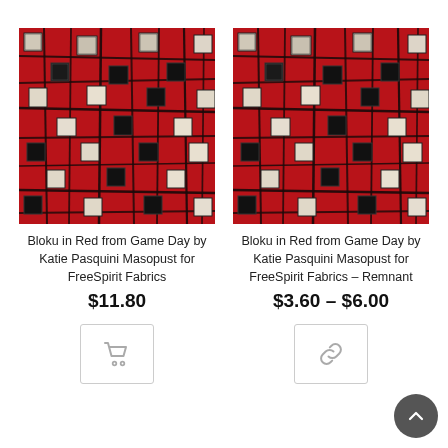[Figure (photo): Red plaid fabric with black and white geometric square patterns – Bloku in Red from Game Day by Katie Pasquini Masopust for FreeSpirit Fabrics]
Bloku in Red from Game Day by Katie Pasquini Masopust for FreeSpirit Fabrics
$11.80
[Figure (photo): Red plaid fabric with black and white geometric square patterns – Bloku in Red from Game Day by Katie Pasquini Masopust for FreeSpirit Fabrics – Remnant]
Bloku in Red from Game Day by Katie Pasquini Masopust for FreeSpirit Fabrics – Remnant
$3.60 – $6.00